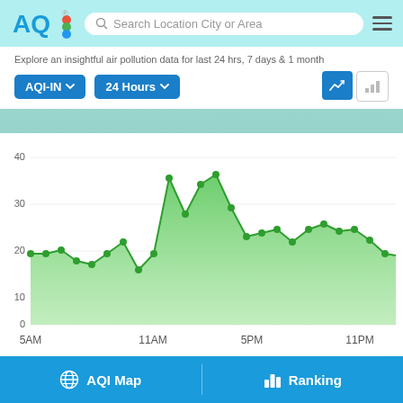AQI — Search Location City or Area
Explore an insightful air pollution data for last 24 hrs, 7 days & 1 month
[Figure (area-chart): Area chart showing AQI-IN values over 24 hours. Values start around 17-18 at 5AM, dip to ~13 around 11AM, peak to ~35-36 around 1-2PM, then drop and stabilize around 20-27 through the evening, ending near 25 at 11PM. Y-axis 0-40, labeled at 0, 10, 20, 30, 40.]
Most Polluted Cities in Bosnia And Herzegovina
Real-time worst city rankings
AQI Map   Ranking